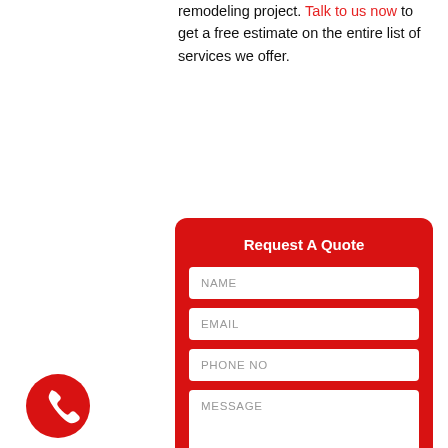remodeling project. Talk to us now to get a free estimate on the entire list of services we offer.
Request A Quote
[Figure (infographic): Contact form with fields for NAME, EMAIL, PHONE NO, and MESSAGE on a red background with rounded corners]
[Figure (illustration): Red circular phone icon with white telephone handset symbol in bottom left corner]